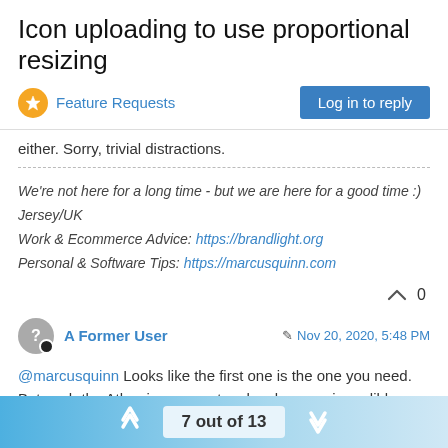Icon uploading to use proportional resizing
Feature Requests
Log in to reply
either. Sorry, trivial distractions.
We're not here for a long time - but we are here for a good time :)
Jersey/UK
Work & Ecommerce Advice: https://brandlight.org
Personal & Software Tips: https://marcusquinn.com
0
A Former User
Nov 20, 2020, 5:48 PM
@marcusquinn Looks like the first one is the one you need. But yeah the Atlassian ecosystem has become incredibly confusing. And don't get me started on the feature cap between "next gen" projects and regular pleb old projects and their inability to add dark theme for so long: https://jira.atlassian.com/browse/JRACLOUD-
7 out of 13